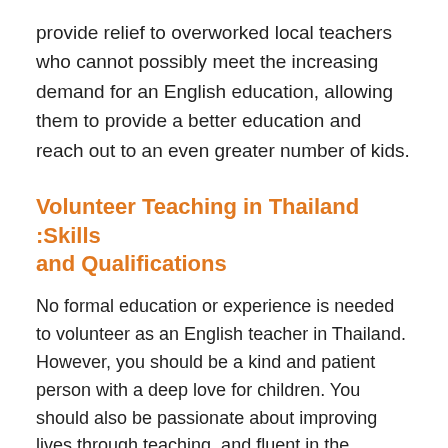provide relief to overworked local teachers who cannot possibly meet the increasing demand for an English education, allowing them to provide a better education and reach out to an even greater number of kids.
Volunteer Teaching in Thailand :Skills and Qualifications
No formal education or experience is needed to volunteer as an English teacher in Thailand. However, you should be a kind and patient person with a deep love for children. You should also be passionate about improving lives through teaching, and fluent in the English language. Volunteers who are native English speakers or who possess prior teaching experience will have an advantage, but this is not required